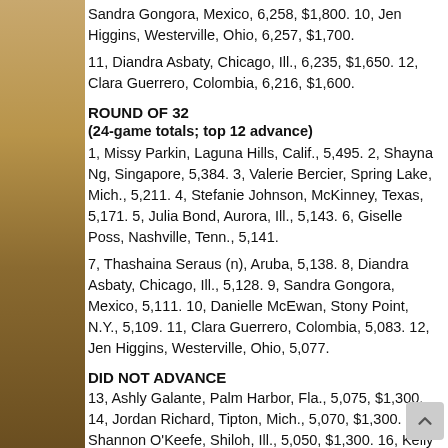Sandra Gongora, Mexico, 6,258, $1,800. 10, Jen Higgins, Westerville, Ohio, 6,257, $1,700.
11, Diandra Asbaty, Chicago, Ill., 6,235, $1,650. 12, Clara Guerrero, Colombia, 6,216, $1,600.
ROUND OF 32
(24-game totals; top 12 advance)
1, Missy Parkin, Laguna Hills, Calif., 5,495. 2, Shayna Ng, Singapore, 5,384. 3, Valerie Bercier, Spring Lake, Mich., 5,211. 4, Stefanie Johnson, McKinney, Texas, 5,171. 5, Julia Bond, Aurora, Ill., 5,143. 6, Giselle Poss, Nashville, Tenn., 5,141.
7, Thashaina Seraus (n), Aruba, 5,138. 8, Diandra Asbaty, Chicago, Ill., 5,128. 9, Sandra Gongora, Mexico, 5,111. 10, Danielle McEwan, Stony Point, N.Y., 5,109. 11, Clara Guerrero, Colombia, 5,083. 12, Jen Higgins, Westerville, Ohio, 5,077.
DID NOT ADVANCE
13, Ashly Galante, Palm Harbor, Fla., 5,075, $1,300. 14, Jordan Richard, Tipton, Mich., 5,070, $1,300. 15, Shannon O'Keefe, Shiloh, Ill., 5,050, $1,300. 16, Kelly Kulick HoF, Union, N.J., 5,037, $1,300. 17, Daphne Tan, Singapore, 5,035, $1,250. 18, Jodi Woessner, Oregon, Ohio, 5,028, $1,250.
19, Shannon Pluhowsky, Dayton, Ohio, 5,025, $1,250. 20, Hui Fen New, Singapore, 5,010, $1,250. 21, Liz Kuhlkin...